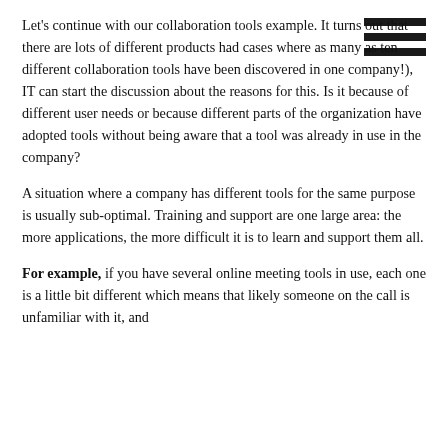[Figure (other): Hamburger menu icon — three horizontal dark bars in top-right corner]
Let's continue with our collaboration tools example. It turns out that there are lots of different products had cases where as many as ten different collaboration tools have been discovered in one company!), IT can start the discussion about the reasons for this. Is it because of different user needs or because different parts of the organization have adopted tools without being aware that a tool was already in use in the company?
A situation where a company has different tools for the same purpose is usually sub-optimal. Training and support are one large area: the more applications, the more difficult it is to learn and support them all.
For example, if you have several online meeting tools in use, each one is a little bit different which means that likely someone on the call is unfamiliar with it, and